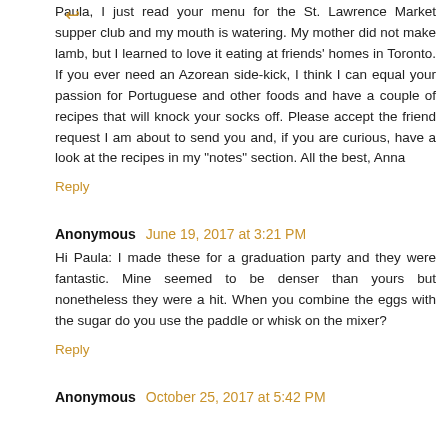Paula, I just read your menu for the St. Lawrence Market supper club and my mouth is watering. My mother did not make lamb, but I learned to love it eating at friends' homes in Toronto. If you ever need an Azorean side-kick, I think I can equal your passion for Portuguese and other foods and have a couple of recipes that will knock your socks off. Please accept the friend request I am about to send you and, if you are curious, have a look at the recipes in my "notes" section. All the best, Anna
Reply
Anonymous June 19, 2017 at 3:21 PM
Hi Paula: I made these for a graduation party and they were fantastic. Mine seemed to be denser than yours but nonetheless they were a hit. When you combine the eggs with the sugar do you use the paddle or whisk on the mixer?
Reply
Anonymous October 25, 2017 at 5:42 PM